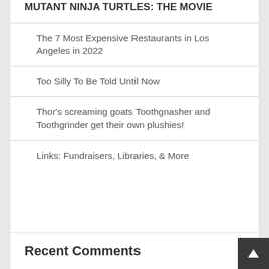MUTANT NINJA TURTLES: THE MOVIE
The 7 Most Expensive Restaurants in Los Angeles in 2022
Too Silly To Be Told Until Now
Thor's screaming goats Toothgnasher and Toothgrinder get their own plushies!
Links: Fundraisers, Libraries, & More
Recent Comments